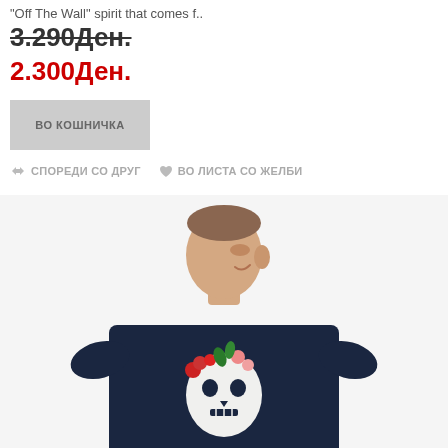"Off The Wall" spirit that comes f..
3.290Ден.
2.300Ден.
ВО КОШНИЧКА
СПОРЕДИ СО ДРУГ   ВО ЛИСТА СО ЖЕЛБИ
[Figure (photo): Man wearing a dark navy t-shirt with a floral skull graphic on the back, shown from behind, smiling and looking to the side, on a white background.]